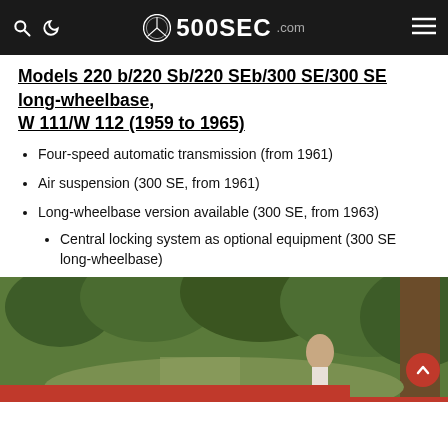500SEC.com
Models 220 b/220 Sb/220 SEb/300 SE/300 SE long-wheelbase, W 111/W 112 (1959 to 1965)
Four-speed automatic transmission (from 1961)
Air suspension (300 SE, from 1961)
Long-wheelbase version available (300 SE, from 1963)
Central locking system as optional equipment (300 SE long-wheelbase)
[Figure (photo): A person standing outdoors near a red car, surrounded by lush green trees and foliage along a path.]